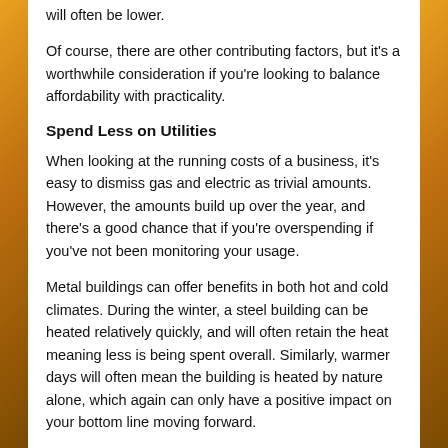will often be lower.
Of course, there are other contributing factors, but it's a worthwhile consideration if you're looking to balance affordability with practicality.
Spend Less on Utilities
When looking at the running costs of a business, it's easy to dismiss gas and electric as trivial amounts. However, the amounts build up over the year, and there's a good chance that if you're overspending if you've not been monitoring your usage.
Metal buildings can offer benefits in both hot and cold climates. During the winter, a steel building can be heated relatively quickly, and will often retain the heat meaning less is being spent overall. Similarly, warmer days will often mean the building is heated by nature alone, which again can only have a positive impact on your bottom line moving forward.